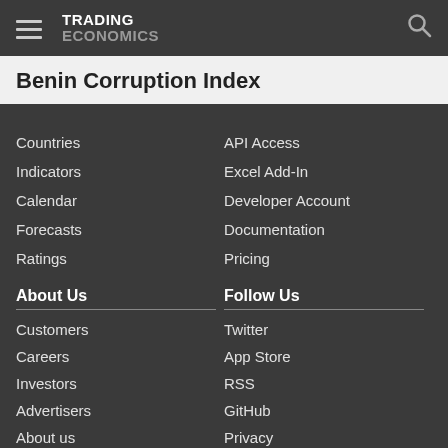TRADING ECONOMICS
Benin Corruption Index
Countries
Indicators
Calendar
Forecasts
Ratings
API Access
Excel Add-In
Developer Account
Documentation
Pricing
About Us
Follow Us
Customers
Careers
Investors
Advertisers
About us
Twitter
App Store
RSS
GitHub
Privacy
Copyright ©2022 TRADING ECONOMICS
All Rights Reserved